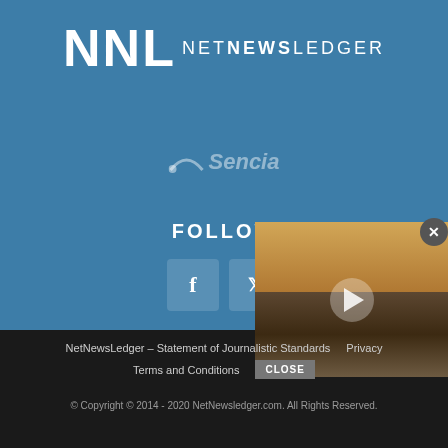[Figure (logo): NNL NetNewsLedger logo with large white block letters NNL and text NETNEWSLEDGER on blue background]
[Figure (logo): Sencia logo in faded white italic text with swoosh arc on blue background]
FOLLOW
[Figure (illustration): Facebook and Twitter social media icons in semi-transparent boxes]
[Figure (screenshot): Video player overlay showing beach/pier scene at sunset with play button, partially covering the page]
NetNewsLedger – Statement of Journalistic Standards  Privacy  Terms and Conditions  CLOSE  © Copyright © 2014 - 2020 NetNewsledger.com. All Rights Reserved.